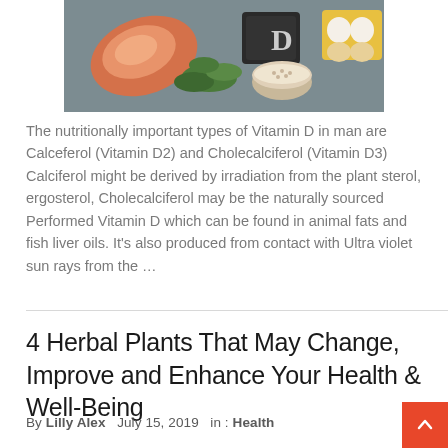[Figure (photo): Vitamin D foods photo: salmon, mushrooms, eggs, green herbs, and a chalkboard sign with letter D on a dark background]
The nutritionally important types of Vitamin D in man are Calceferol (Vitamin D2) and Cholecalciferol (Vitamin D3) Calciferol might be derived by irradiation from the plant sterol, ergosterol, Cholecalciferol may be the naturally sourced Performed Vitamin D which can be found in animal fats and fish liver oils. It's also produced from contact with Ultra violet sun rays from the …
4 Herbal Plants That May Change, Improve and Enhance Your Health & Well-Being
By Lilly Alex   July 15, 2019   in : Health